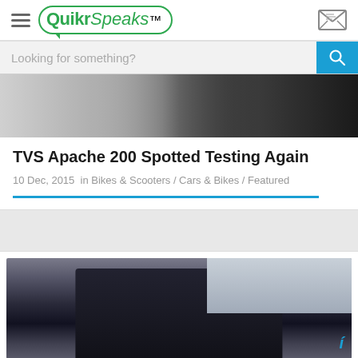QuikrSpeaks
Looking for something?
[Figure (photo): Partially visible motorcycle photo at top of article card]
TVS Apache 200 Spotted Testing Again
10 Dec, 2015  in  Bikes & Scooters / Cars & Bikes / Featured
[Figure (photo): Motorcycle (sport bike) on a road, photographed from front-low angle, overcast sky background, with a blue watermark logo in bottom-right corner]